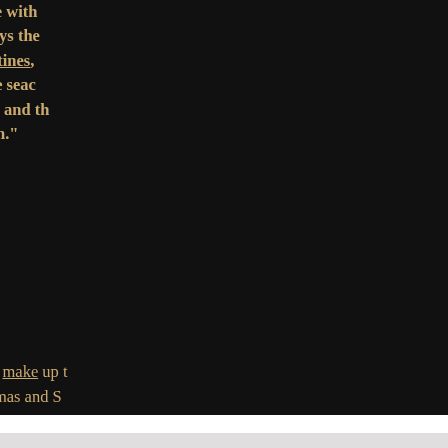acted in revenge and have taken vengeance with everlasting enmity," therefore thus says the Lord: I will stretch out My hand against the Philistines, Cherethites and destroy the remnant of the seacoast. I will execute great vengeance on them with wrathful rebukes; and they shall know that I am the Lord when I lay My vengeance on them."
See also Zephaniah 2:5-7.
Philistia or the Philistines are the people who make up the modern-day Gaza Strip. This group is associated with Hamas and S...
Click on video link for geography and additional analys...
[Figure (screenshot): Video thumbnail showing 'Trend Update: Israel & Hamas' with an orange P logo on dark background and a person visible in lower portion]